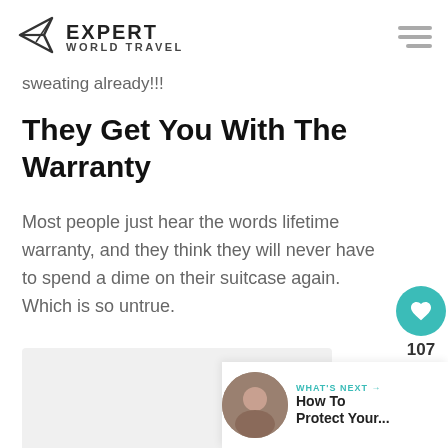Expert World Travel
sweating already!!!
They Get You With The Warranty
Most people just hear the words lifetime warranty, and they think they will never have to spend a dime on their suitcase again. Which is so untrue.
[Figure (other): Gray image placeholder area at bottom]
WHAT'S NEXT → How To Protect Your...